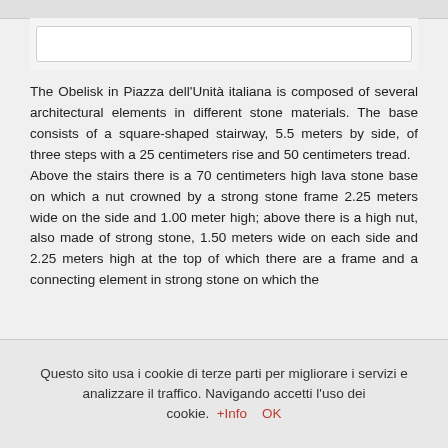The Obelisk in Piazza dell'Unità italiana is composed of several architectural elements in different stone materials. The base consists of a square-shaped stairway, 5.5 meters by side, of three steps with a 25 centimeters rise and 50 centimeters tread. Above the stairs there is a 70 centimeters high lava stone base on which a nut crowned by a strong stone frame 2.25 meters wide on the side and 1.00 meter high; above there is a high nut, also made of strong stone, 1.50 meters wide on each side and 2.25 meters high at the top of which there are a frame and a connecting element in strong stone on which the
Questo sito usa i cookie di terze parti per migliorare i servizi e analizzare il traffico. Navigando accetti l'uso dei cookie. +Info OK